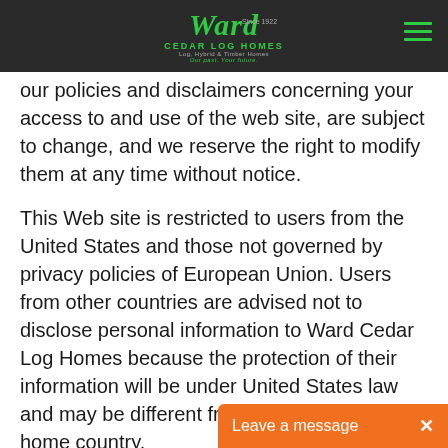[Figure (logo): Ward Cedar Log Homes logo with green script text and taglines, on dark navigation bar]
our policies and disclaimers concerning your access to and use of the web site, are subject to change, and we reserve the right to modify them at any time without notice.
This Web site is restricted to users from the United States and those not governed by privacy policies of European Union. Users from other countries are advised not to disclose personal information to Ward Cedar Log Homes because the protection of their information will be under United States law and may be different from the law in their home country.
External Links
This Web site contains links